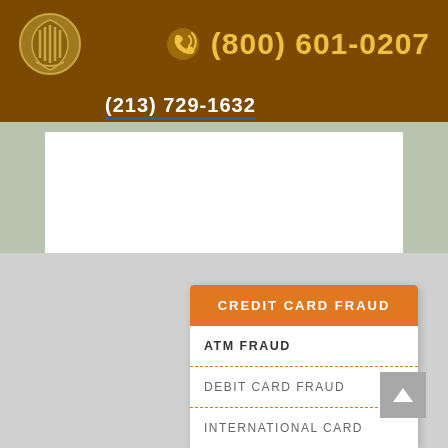(800) 601-0207
(213) 729-1632
CREDIT CARD FRAUD
ATM FRAUD
DEBIT CARD FRAUD
INTERNATIONAL CARD